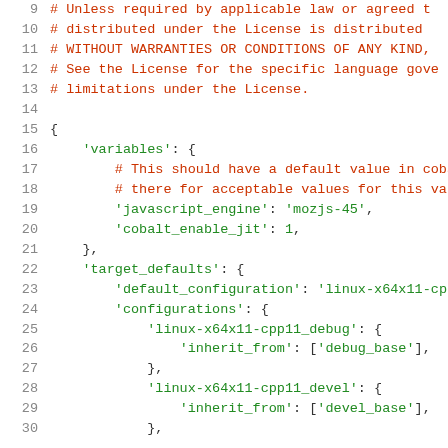Code viewer showing lines 9-30 of a GYP build configuration file with license comments and JSON-like configuration structure.